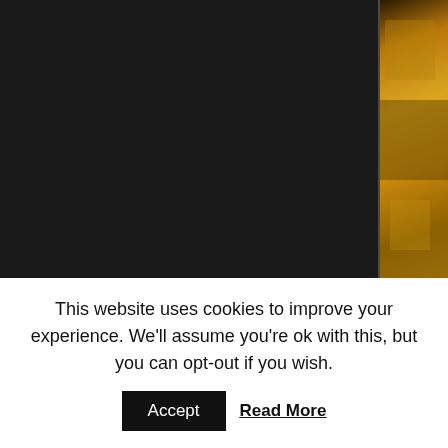[Figure (photo): Dark background webpage screenshot showing a photo thumbnail on the right side with golden/amber tones, likely a religious or architectural subject. Below the image area is an info box with camera metadata and description about the Abbey of Montecassino.]
Camera: Canon EOS 7D
Lens: Canon EF-S 17-55mm f/2.8 IS USM
Description: Four times in its history the Abbey of Montecassino has been ne... 529. The sacredness of the place was able to overcome internal wars, invasio... is a faithful copy the previous one. The postwar reconstruction has preserved... the February 1944.
Italian: http://www.mvmnt.it/it/galleria_fotografica/foto-luoghi-viaggi/382/ab...
This website uses cookies to improve your experience. We'll assume you're ok with this, but you can opt-out if you wish.
Accept
Read More